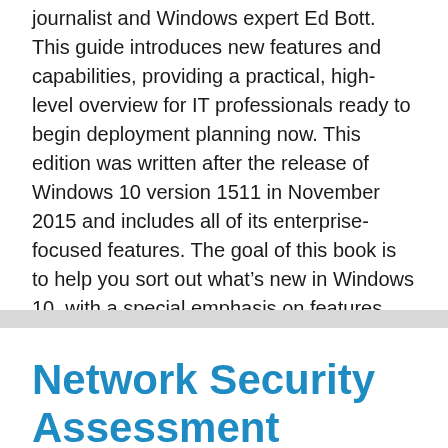journalist and Windows expert Ed Bott. This guide introduces new features and capabilities, providing a practical, high-level overview for IT professionals ready to begin deployment planning now. This edition was written after the release of Windows 10 version 1511 in November 2015 and includes all of its enterprise-focused features. The goal of this book is to help you sort out what’s new in Windows 10, with a special emphasis on features that
Network Security Assessment